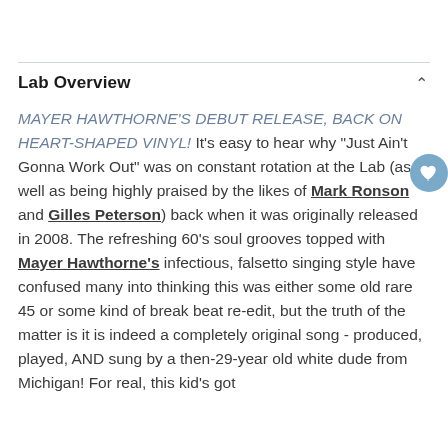Lab Overview
MAYER HAWTHORNE'S DEBUT RELEASE, BACK ON HEART-SHAPED VINYL! It's easy to hear why "Just Ain't Gonna Work Out" was on constant rotation at the Lab (as well as being highly praised by the likes of Mark Ronson and Gilles Peterson) back when it was originally released in 2008. The refreshing 60's soul grooves topped with Mayer Hawthorne's infectious, falsetto singing style have confused many into thinking this was either some old rare 45 or some kind of break beat re-edit, but the truth of the matter is it is indeed a completely original song - produced, played, AND sung by a then-29-year old white dude from Michigan! For real, this kid's got